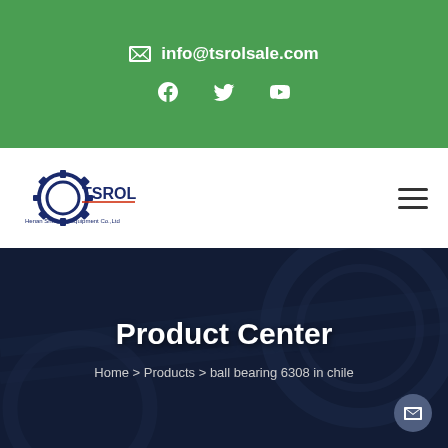info@tsrolsale.com
[Figure (logo): TSROL company logo with gear icon and text 'TSROL Henan Shuhong Equipment Co.,Ltd']
Product Center
Home > Products > ball bearing 6308 in chile